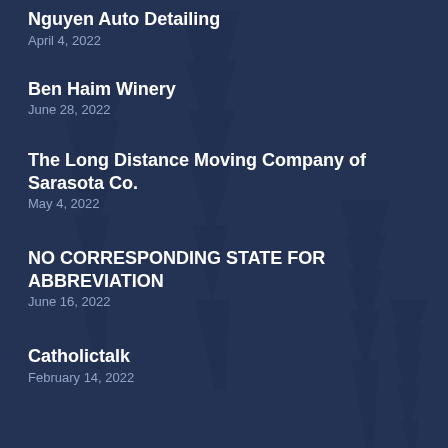Nguyen Auto Detailing
April 4, 2022
Ben Haim Winery
June 28, 2022
The Long Distance Moving Company of Sarasota Co.
May 4, 2022
NO CORRESPONDING STATE FOR ABBREVIATION
June 16, 2022
Catholictalk
February 14, 2022